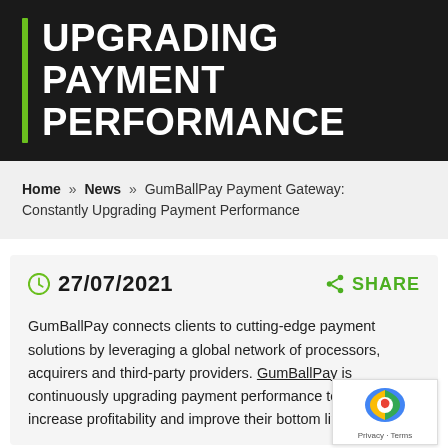UPGRADING PAYMENT PERFORMANCE
Home » News » GumBallPay Payment Gateway: Constantly Upgrading Payment Performance
27/07/2021
SHARE
GumBallPay connects clients to cutting-edge payment solutions by leveraging a global network of processors, acquirers and third-party providers. GumBallPay is continuously upgrading payment performance to help clients increase profitability and improve their bottom line.